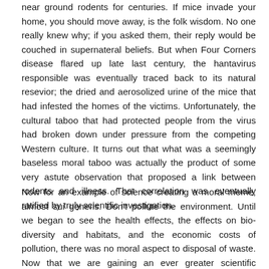near ground rodents for centuries. If mice invade your home, you should move away, is the folk wisdom. No one really knew why; if you asked them, their reply would be couched in supernateral beliefs. But when Four Corners disease flared up late last century, the hantavirus responsible was eventually traced back to its natural resevior; the dried and aerosolized urine of the mice that had infested the homes of the victims. Unfortunately, the cultural taboo that had protected people from the virus had broken down under pressure from the competing Western culture. It turns out that what was a seemingly baseless moral taboo was actually the product of some very astute observation that proposed a link between rodents and illness. That correlation was eventually ratified by truly scientific investigation.
Now for an example of science creating a moral meme, almost sui generis. Don't pollute the environment. Until we began to see the health effects, the effects on bio-diversity and habitats, and the economic costs of pollution, there was no moral aspect to disposal of waste. Now that we are gaining an ever greater scientific knowledge of the effect